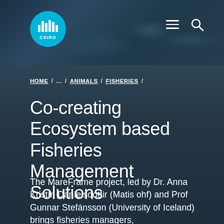[Figure (logo): CSIRO logo - circular blue badge with bar chart/audio wave icon and CSIRO text]
HOME / ... / ANIMALS / FISHERIES /
Co-creating Ecosystem based Fisheries Management Solutions
The MareFrame project, led by Dr. Anna Kristín Daníelsdóttir (Matis ohf) and Prof Gunnar Stefánsson (University of Iceland) brings fisheries managers,